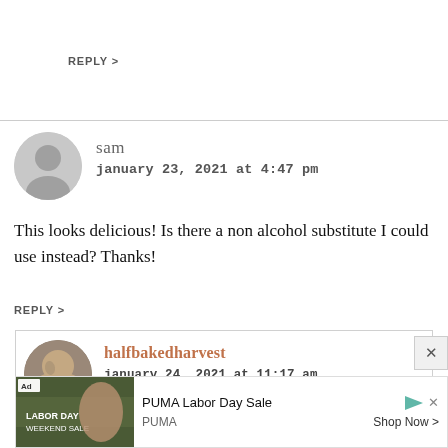REPLY >
sam
january 23, 2021 at 4:47 pm
This looks delicious! Is there a non alcohol substitute I could use instead? Thanks!
REPLY >
halfbakedharvest
january 24, 2021 at 11:17 am
[Figure (infographic): Ad banner: PUMA Labor Day Sale advertisement with image of person wearing PUMA gear, Ad badge, play/forward icon, X close icon, PUMA brand name and Shop Now call to action link]